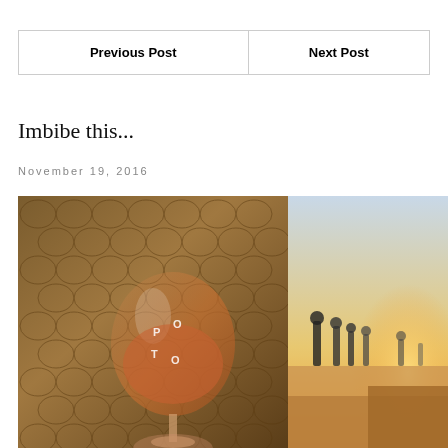| Previous Post | Next Post |
| --- | --- |
Imbibe this...
November 19, 2016
[Figure (photo): A wine glass with rose wine and a logo etched on it, held against a backdrop of woven rope texture and a beachfront promenade with people silhouetted against golden sunset light.]